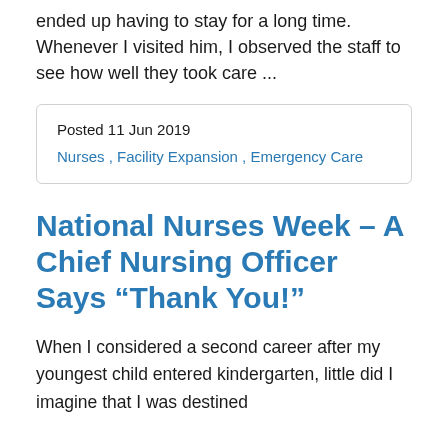ended up having to stay for a long time. Whenever I visited him, I observed the staff to see how well they took care ...
Posted 11 Jun 2019
Nurses, Facility Expansion, Emergency Care
National Nurses Week – A Chief Nursing Officer Says “Thank You!”
When I considered a second career after my youngest child entered kindergarten, little did I imagine that I was destined